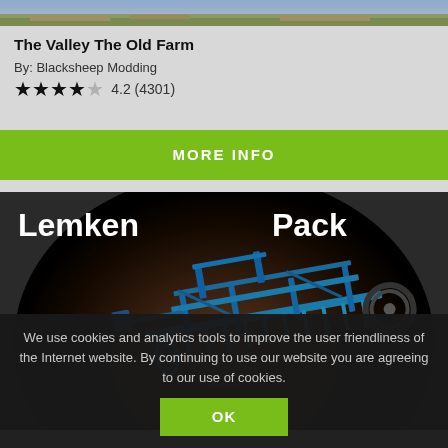[Figure (photo): Top portion of a farming landscape photo, cropped at top of page]
The Valley The Old Farm
By: Blacksheep Modding
★★★★☆ 4.2 (4301)
MORE INFO
[Figure (screenshot): Lemken Pack mod image showing blue farm equipment/cultivator on dark circular background with 'Lemken Pack' text in white]
We use cookies and analytics tools to improve the user friendliness of the Internet website. By continuing to use our website you are agreeing to our use of cookies.
OK